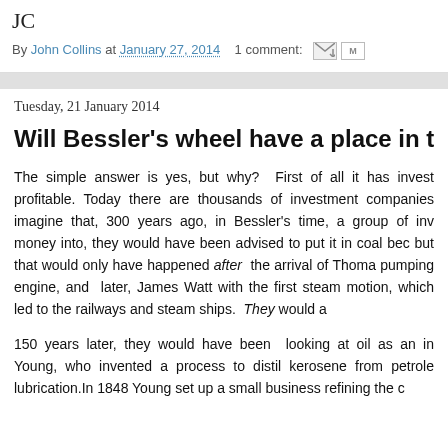JC
By John Collins at January 27, 2014   1 comment:
Tuesday, 21 January 2014
Will Bessler's wheel have a place in toda
The simple answer is yes, but why?  First of all it has invest profitable. Today there are thousands of investment companies imagine that, 300 years ago, in Bessler's time, a group of inv money into, they would have been advised to put it in coal bec but that would only have happened after  the arrival of Thoma pumping engine, and  later, James Watt with the first steam motion, which led to the railways and steam ships.  They would a
150 years later, they would have been  looking at oil as an in Young, who invented a process to distil kerosene from petrole lubrication.In 1848 Young set up a small business refining the c